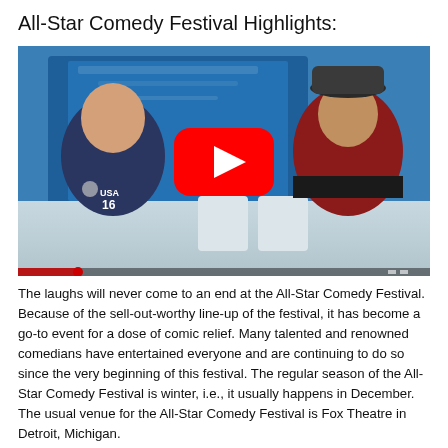All-Star Comedy Festival Highlights:
[Figure (screenshot): Video thumbnail showing two men seated in a TV studio setting with a blue background. The man on the left wears a dark USA #16 polo shirt. The man on the right wears a red shirt and dark bucket hat. A large YouTube play button (red circle with white triangle) is overlaid in the center of the image.]
The laughs will never come to an end at the All-Star Comedy Festival. Because of the sell-out-worthy line-up of the festival, it has become a go-to event for a dose of comic relief. Many talented and renowned comedians have entertained everyone and are continuing to do so since the very beginning of this festival. The regular season of the All-Star Comedy Festival is winter, i.e., it usually happens in December. The usual venue for the All-Star Comedy Festival is Fox Theatre in Detroit, Michigan.